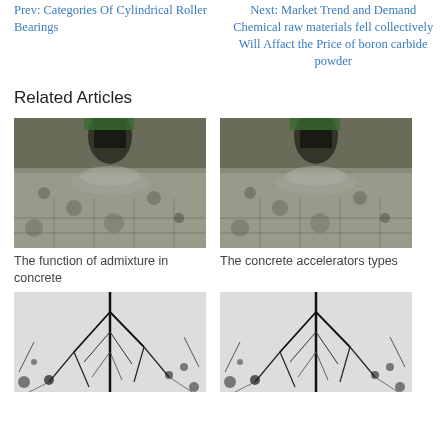Prev: Categories Of Cylindrical Roller Bearings
Next: Market Trend and Demand Chemical raw materials fell collectively Will Affact the Price of boron carbide powder
Related Articles
[Figure (photo): Concrete being poured or sprayed onto a reinforced surface - admixture in concrete]
The function of admixture in concrete
[Figure (photo): Concrete being poured or sprayed onto a reinforced surface - concrete accelerators]
The concrete accelerators types
[Figure (photo): Black and white image of tree-like fractal or lightning pattern]
[Figure (photo): Black and white image of tree-like fractal or lightning pattern (duplicate)]